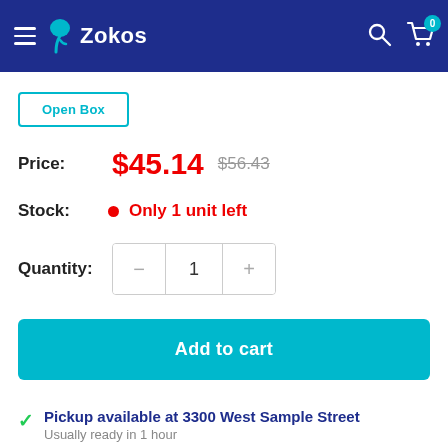Zokos
Open Box
Price: $45.14  $56.43
Stock: Only 1 unit left
Quantity: 1
Add to cart
Pickup available at 3300 West Sample Street
Usually ready in 1 hour